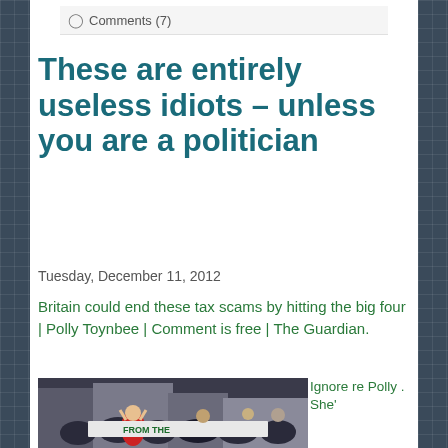Comments (7)
These are entirely useless idiots – unless you are a politician
Tuesday, December 11, 2012
Britain could end these tax scams by hitting the big four | Polly Toynbee | Comment is free | The Guardian.
[Figure (photo): Crowd of protesters holding a banner reading 'FROM THE', woman in red jacket waving in the foreground, urban street setting]
Ignore Polly . She'